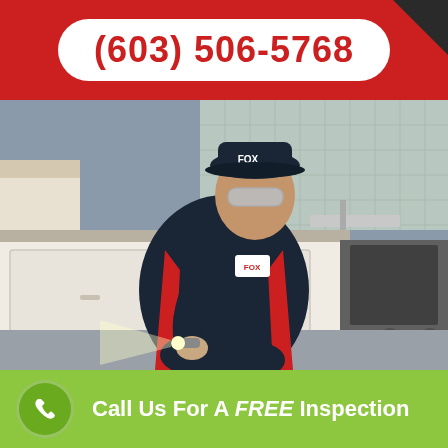(603) 506-5768
[Figure (photo): Fox Pest Control technician in dark navy and red uniform with Fox logo cap and safety glasses, crouching on kitchen floor while shining a flashlight under cabinets during a pest inspection]
Call Us For A FREE Inspection